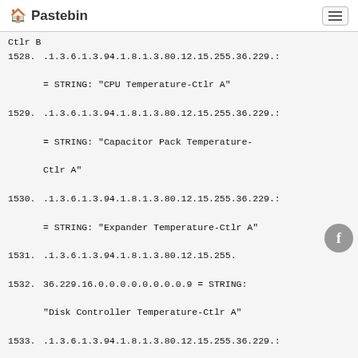Pastebin
1528. .1.3.6.1.3.94.1.8.1.3.80.12.15.255.36.229.:
     = STRING: "CPU Temperature-Ctlr A"
1529. .1.3.6.1.3.94.1.8.1.3.80.12.15.255.36.229.:
     = STRING: "Capacitor Pack Temperature-Ctlr A"
1530. .1.3.6.1.3.94.1.8.1.3.80.12.15.255.36.229.:
     = STRING: "Expander Temperature-Ctlr A"
1531. .1.3.6.1.3.94.1.8.1.3.80.12.15.255.
1532. 36.229.16.0.0.0.0.0.0.0.0.9 = STRING: "Disk Controller Temperature-Ctlr A"
1533. .1.3.6.1.3.94.1.8.1.3.80.12.15.255.36.229.:
     = STRING: "Host Left IOC Temperature-Ctlr A"
1534. .1.3.6.1.3.94.1.8.1.3.80.12.15.255.36.229.:
     = STRING: "Capacitor Pack Voltage-Ctlr B"
1535. .1.3.6.1.3.94.1.8.1.3.80.12.15.255.36.229.:
     = STRING: "Capacitor Cell 1 Voltage-Ctlr B"
1536. .1.3.6.1.3.94.1.8.1.3.80.12.15.255.36.229.:
     = STRING: "Capacitor Cell 2 Voltage-Ctlr B"
1537. .1.3.6.1.3.94.1.8.1.3.80.12.15.255.36.229.:
     = STRING: "Capacitor Cell 3 Volta...